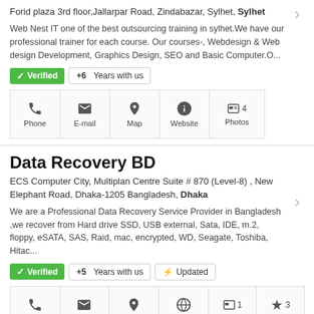Forid plaza 3rd floor,Jallarpar Road, Zindabazar, Sylhet, Sylhet
Web Nest IT one of the best outsourcing training in sylhet.We have our professional trainer for each course. Our courses-, Webdesign & Web design Development, Graphics Design, SEO and Basic Computer.O...
✓ Verified  +6  Years with us
Phone  E-mail  Map  Website  4 Photos
Data Recovery BD
ECS Computer City, Multiplan Centre Suite # 870 (Level-8) , New Elephant Road, Dhaka-1205 Bangladesh, Dhaka
We are a Professional Data Recovery Service Provider in Bangladesh ,we recover from Hard drive SSD, USB external, Sata, IDE, m.2, floppy, eSATA, SAS, Raid, mac, encrypted, WD, Seagate, Toshiba, Hitac...
✓ Verified  +5  Years with us  ⚡ Updated
Phone  E-mail  Map  Website  1 Photos  3 Products